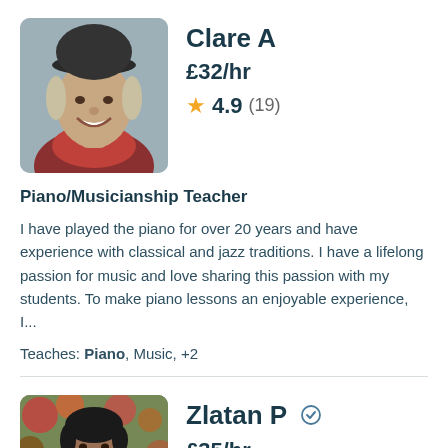[Figure (photo): Profile photo of Clare A, a woman smiling, wearing a dark beanie hat and red scarf]
Clare A
£32/hr
4.9 (19)
Piano/Musicianship Teacher
I have played the piano for over 20 years and have experience with classical and jazz traditions. I have a lifelong passion for music and love sharing this passion with my students. To make piano lessons an enjoyable experience, I...
Teaches: Piano, Music, +2
[Figure (photo): Profile photo of Zlatan P, a man with dark hair outdoors with colourful background]
Zlatan P
£35/hr